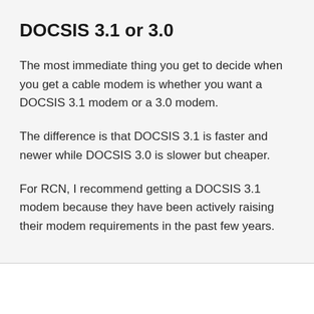DOCSIS 3.1 or 3.0
The most immediate thing you get to decide when you get a cable modem is whether you want a DOCSIS 3.1 modem or a 3.0 modem.
The difference is that DOCSIS 3.1 is faster and newer while DOCSIS 3.0 is slower but cheaper.
For RCN, I recommend getting a DOCSIS 3.1 modem because they have been actively raising their modem requirements in the past few years.